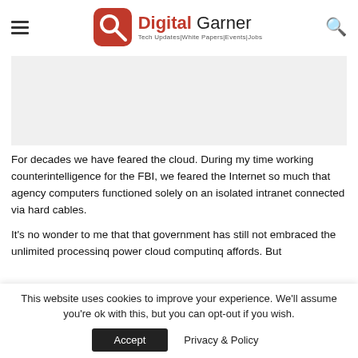Digital Garner — Tech Updates|White Papers|Events|Jobs
[Figure (other): Light gray rectangular advertisement banner placeholder]
For decades we have feared the cloud.  During my time working counterintelligence for the FBI, we feared the Internet so much that agency computers functioned solely on an isolated intranet connected via hard cables.
It's no wonder to me that that government has still not embraced the unlimited processing power cloud computing affords.  But
This website uses cookies to improve your experience. We'll assume you're ok with this, but you can opt-out if you wish.